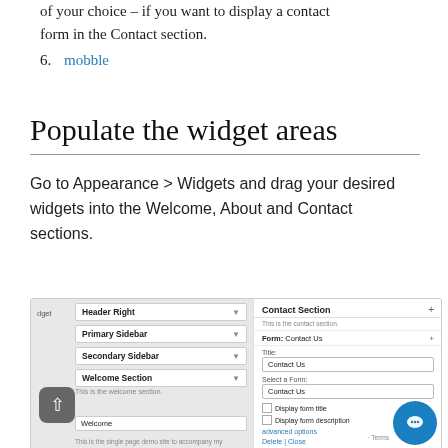of your choice – if you want to display a contact form in the Contact section.
6. mobble
Populate the widget areas
Go to Appearance > Widgets and drag your desired widgets into the Welcome, About and Contact sections.
[Figure (screenshot): WordPress Widgets admin screen showing widget areas: Header Right, Primary Sidebar, Secondary Sidebar, Welcome Section on the left panel, and Contact Section with a Contact Us form configured on the right panel.]